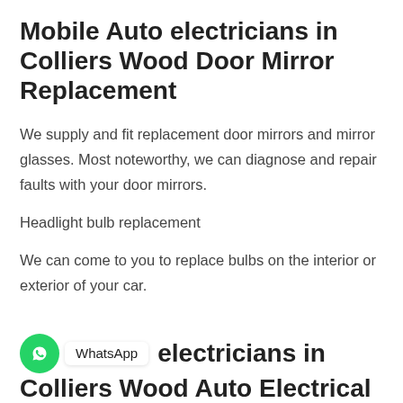Mobile Auto electricians in Colliers Wood Door Mirror Replacement
We supply and fit replacement door mirrors and mirror glasses. Most noteworthy, we can diagnose and repair faults with your door mirrors.
Headlight bulb replacement
We can come to you to replace bulbs on the interior or exterior of your car.
Mobile Auto electricians in Colliers Wood Auto Electrical